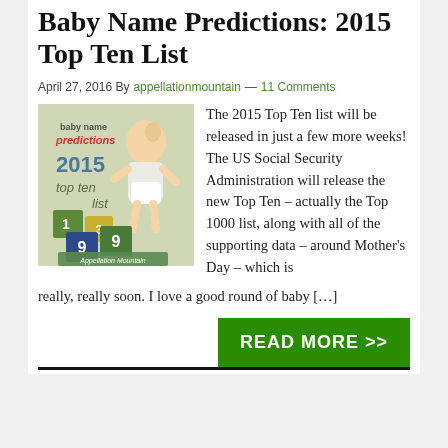Baby Name Predictions: 2015 Top Ten List
April 27, 2016 By appellationmountain — 11 Comments
[Figure (photo): Baby name predictions 2015 top ten list image with a baby and numbered blocks, branded Appellation Mountain]
The 2015 Top Ten list will be released in just a few more weeks! The US Social Security Administration will release the new Top Ten – actually the Top 1000 list, along with all of the supporting data – around Mother's Day – which is really, really soon. I love a good round of baby […]
READ MORE >>